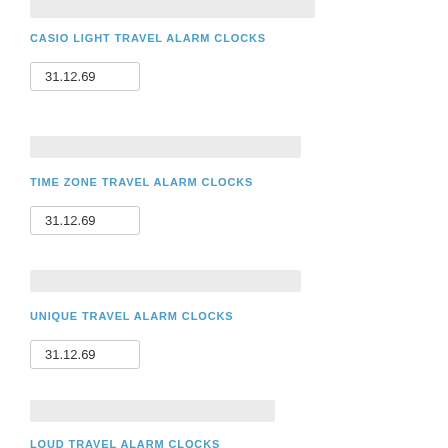[Figure (other): Gray image placeholder bar at top]
CASIO LIGHT TRAVEL ALARM CLOCKS
31.12.69
[Figure (other): Gray image placeholder bar]
TIME ZONE TRAVEL ALARM CLOCKS
31.12.69
[Figure (other): Gray image placeholder bar]
UNIQUE TRAVEL ALARM CLOCKS
31.12.69
[Figure (other): Gray image placeholder bar at bottom]
LOUD TRAVEL ALARM CLOCKS